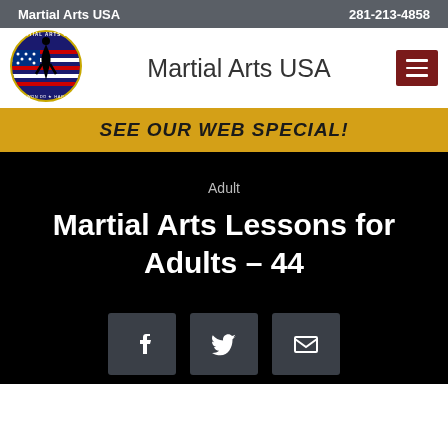Martial Arts USA   281-213-4858
Martial Arts USA
SEE OUR WEB SPECIAL!
Adult
Martial Arts Lessons for Adults – 44
[Figure (infographic): Social share buttons: Facebook, Twitter, Email]